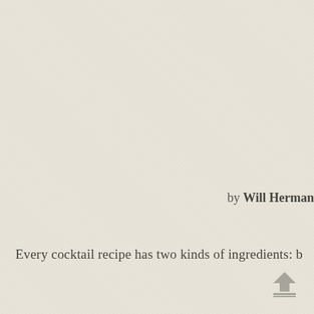by Will Herman
Every cocktail recipe has two kinds of ingredients: b